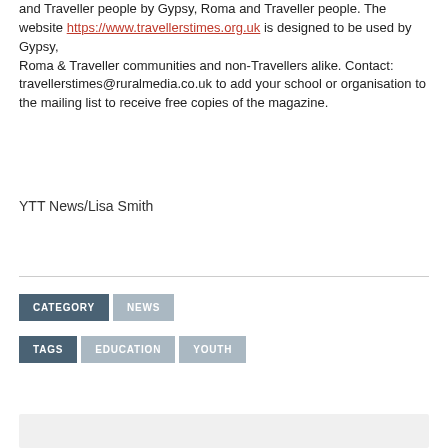and Traveller people by Gypsy, Roma and Traveller people. The website https://www.travellerstimes.org.uk is designed to be used by Gypsy, Roma & Traveller communities and non-Travellers alike. Contact: travellerstimes@ruralmedia.co.uk to add your school or organisation to the mailing list to receive free copies of the magazine.
YTT News/Lisa Smith
CATEGORY | NEWS
TAGS | EDUCATION | YOUTH